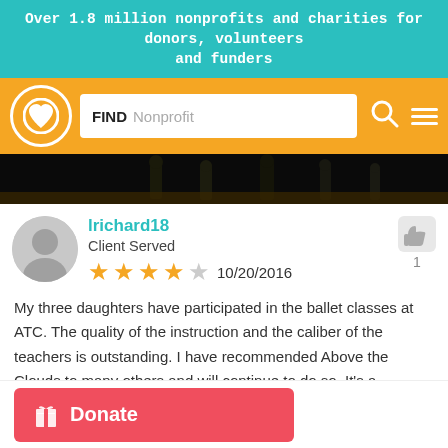Over 1.8 million nonprofits and charities for donors, volunteers and funders
[Figure (screenshot): Navigation bar with logo (heart/Q icon), search box labeled FIND Nonprofit, search icon, and menu icon on orange background]
[Figure (photo): Dark stage photo showing silhouettes of dancers]
lrichard18
Client Served
★★★★☆ 10/20/2016
My three daughters have participated in the ballet classes at ATC. The quality of the instruction and the caliber of the teachers is outstanding. I have recommended Above the Clouds to many others and will continue to do so. It's a wonderful organization and great way for all kids have